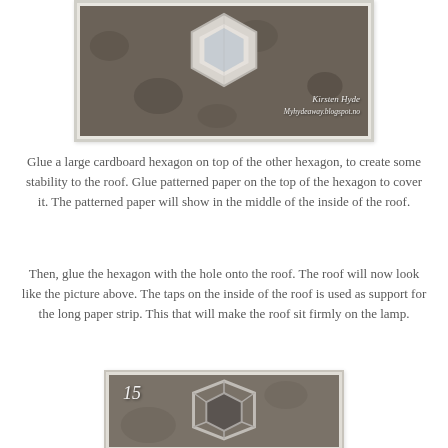[Figure (photo): Photo of a hexagonal cardboard piece on a patterned dark surface, with watermark 'Kirsten Hyde / Myhydeaway.blogspot.no']
Glue a large cardboard hexagon on top of the other hexagon, to create some stability to the roof. Glue patterned paper on the top of the hexagon to cover it. The patterned paper will show in the middle of the inside of the roof.
Then, glue the hexagon with the hole onto the roof. The roof will now look like the picture above. The taps on the inside of the roof is used as support for the long paper strip. This that will make the roof sit firmly on the lamp.
[Figure (photo): Photo labeled '15' showing a hexagonal roof piece viewed from above on a patterned surface]